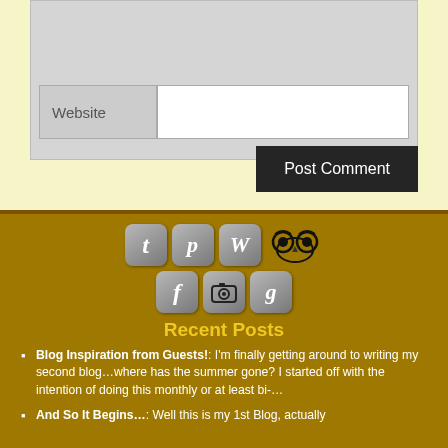[Figure (screenshot): Web form area with Website label and input field, and a Post Comment button on dark background]
[Figure (infographic): Social media icons row: Twitter (t), Pinterest (p), WordPress (W), TripAdvisor (owl), Facebook (f), camera/Instagram, Google+ (g)]
Recent Posts
Blog Inspiration from Guests!: I'm finally getting around to writing my second blog…where has the summer gone? I started off with the intention of doing this monthly or at least bi-…
And So It Begins…: Well this is my 1st Blog, actually feeling like a 1st Blog, all it …